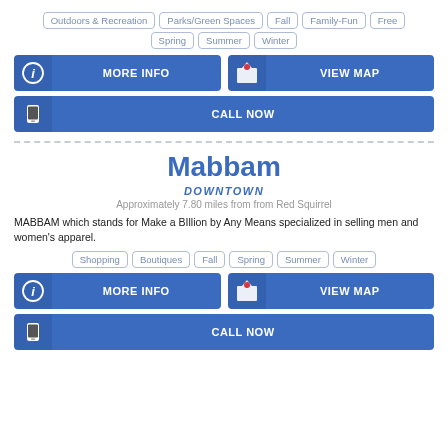Outdoors & Recreation | Parks/Green Spaces | Fall | Family-Fun | Free | Spring | Summer | Winter
[Figure (infographic): Blue button: MORE INFO with info icon; Blue button: VIEW MAP with map pin icon]
[Figure (infographic): Blue button: CALL NOW with phone icon]
Mabbam
DOWNTOWN
Approximately 7.80 miles from from Red Squirrel
MABBAM which stands for Make a BIllion by Any Means specialized in selling men and women's apparel.
Shopping | Boutiques | Fall | Spring | Summer | Winter
[Figure (infographic): Blue button: MORE INFO with info icon; Blue button: VIEW MAP with map pin icon]
[Figure (infographic): Blue button: CALL NOW with phone icon]